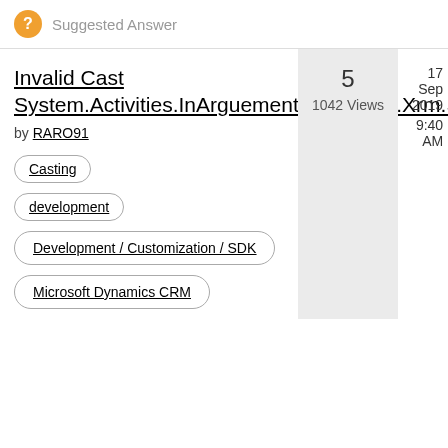Suggested Answer
Invalid Cast System.Activities.InArguement<Microsoft.Xrm.Sdk.EntityReference...
by RARO91
5
1042 Views
17 Sep 2019
9:40 AM
Casting
development
Development / Customization / SDK
Microsoft Dynamics CRM